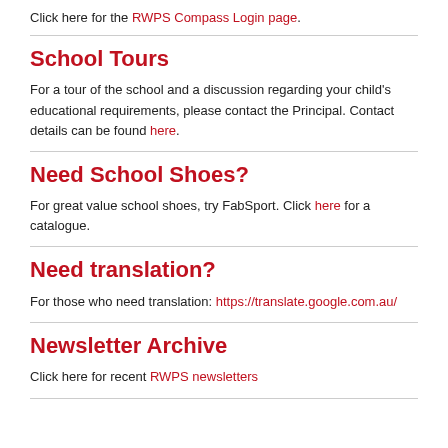Click here for the RWPS Compass Login page.
School Tours
For a tour of the school and a discussion regarding your child's educational requirements, please contact the Principal. Contact details can be found here.
Need School Shoes?
For great value school shoes, try FabSport. Click here for a catalogue.
Need translation?
For those who need translation: https://translate.google.com.au/
Newsletter Archive
Click here for recent RWPS newsletters